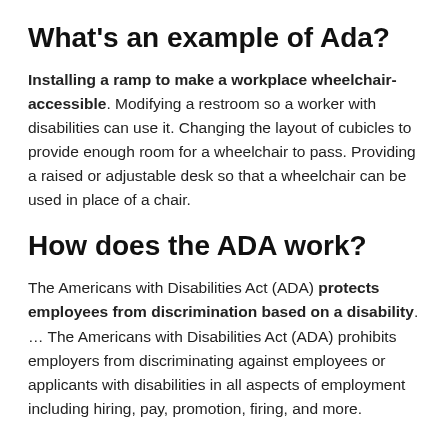What's an example of Ada?
Installing a ramp to make a workplace wheelchair-accessible. Modifying a restroom so a worker with disabilities can use it. Changing the layout of cubicles to provide enough room for a wheelchair to pass. Providing a raised or adjustable desk so that a wheelchair can be used in place of a chair.
How does the ADA work?
The Americans with Disabilities Act (ADA) protects employees from discrimination based on a disability. … The Americans with Disabilities Act (ADA) prohibits employers from discriminating against employees or applicants with disabilities in all aspects of employment including hiring, pay, promotion, firing, and more.